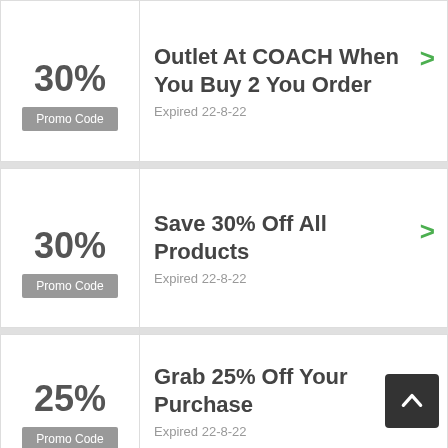30%
Promo Code
Outlet At COACH When You Buy 2 You Order
Expired 22-8-22
30%
Promo Code
Save 30% Off All Products
Expired 22-8-22
25%
Promo Code
Grab 25% Off Your Purchase
Expired 22-8-22